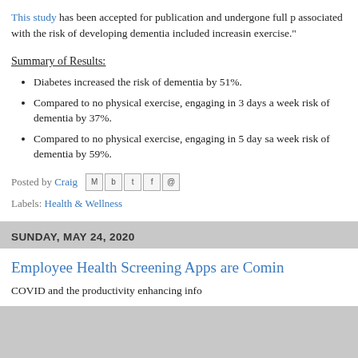This study has been accepted for publication and undergone full p associated with the risk of developing dementia included increasing exercise."
Summary of Results:
Diabetes increased the risk of dementia by 51%.
Compared to no physical exercise, engaging in 3 days a week risk of dementia by 37%.
Compared to no physical exercise, engaging in 5 day sa week risk of dementia by 59%.
Posted by Craig
Labels: Health & Wellness
SUNDAY, MAY 24, 2020
Employee Health Screening Apps are Comin
COVID and the productivity enhancing info